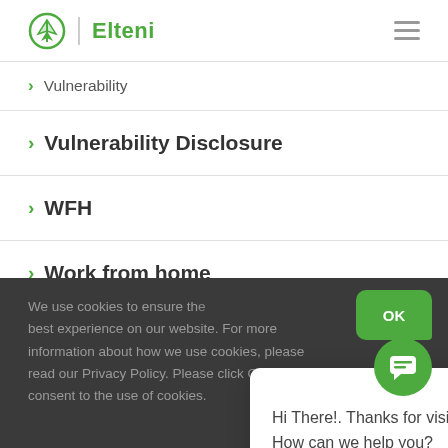Elteni
> Vulnerability
> Vulnerability Disclosure
> WFH
> Work from home
Archives
We use cookies to ensure the best experience on our website. For more information about how we use cookies, please read our Privacy Policy. Please click OK if you consent to the use of cookies.
[Figure (screenshot): Chat popup widget with Elteni logo, close button, and message: Hi There!. Thanks for visiting our site. How can we help you?]